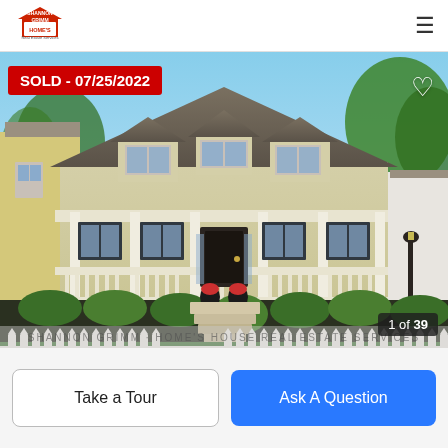[Figure (logo): Shannon Grimm real estate agency logo with house icon]
[Figure (photo): Exterior photo of a sold residential house with white wrap-around porch, dormers, manicured shrubs, picket fence, and front walkway. Red 'SOLD - 07/25/2022' banner in top left corner. Heart icon top right. Photo counter '1 of 39' bottom right.]
SOLD - 07/25/2022
1 of 39
Take a Tour
Ask A Question